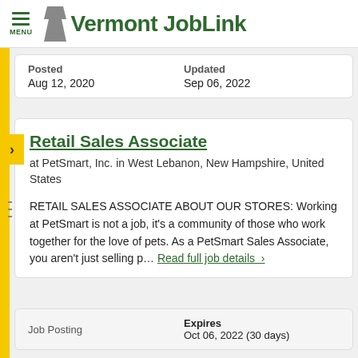Vermont JobLink
| Posted | Updated |
| --- | --- |
| Aug 12, 2020 | Sep 06, 2022 |
Retail Sales Associate
at PetSmart, Inc. in West Lebanon, New Hampshire, United States
RETAIL SALES ASSOCIATE ABOUT OUR STORES: Working at PetSmart is not a job, it’s a community of those who work together for the love of pets. As a PetSmart Sales Associate, you aren’t just selling p… Read full job details ›
| Job Posting | Expires |
| --- | --- |
|  | Oct 06, 2022 (30 days) |